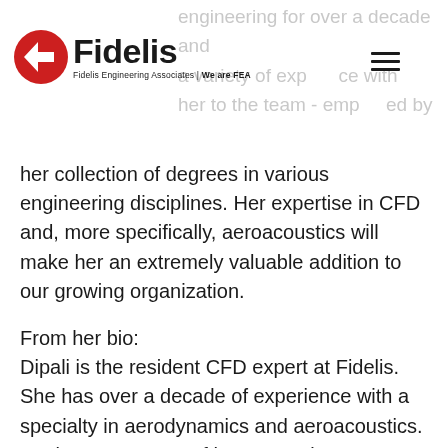Fidelis Engineering Associates | We are FEA
engineering for over a decade and a variety of experience with her to the team - emphasized by her collection of degrees in various engineering disciplines. Her expertise in CFD and, more specifically, aeroacoustics will make her an extremely valuable addition to our growing organization.
From her bio:
Dipali is the resident CFD expert at Fidelis. She has over a decade of experience with a specialty in aerodynamics and aeroacoustics. Having spent most of her career in a consulting environment, Dipali is an active collaborator in product development and design activities.